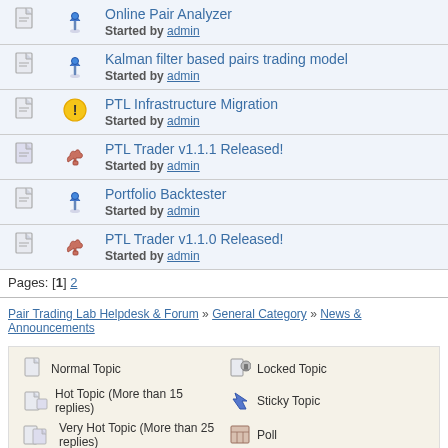| [doc icon] | [pin icon] | Online Pair Analyzer
Started by admin |
| [doc icon] | [pin icon] | Kalman filter based pairs trading model
Started by admin |
| [doc icon] | [warning icon] | PTL Infrastructure Migration
Started by admin |
| [doc icon] | [thumbs up icon] | PTL Trader v1.1.1 Released!
Started by admin |
| [doc icon] | [pin icon] | Portfolio Backtester
Started by admin |
| [doc icon] | [thumbs up icon] | PTL Trader v1.1.0 Released!
Started by admin |
Pages: [1] 2
Pair Trading Lab Helpdesk & Forum » General Category » News & Announcements
Normal Topic | Hot Topic (More than 15 replies) | Very Hot Topic (More than 25 replies) | Locked Topic | Sticky Topic | Poll